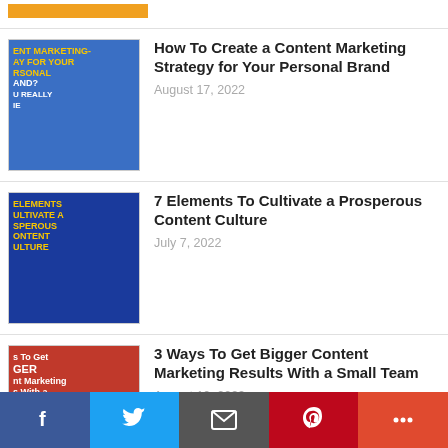[Figure (illustration): Partial orange button/bar at top]
How To Create a Content Marketing Strategy for Your Personal Brand
August 17, 2022
7 Elements To Cultivate a Prosperous Content Culture
July 7, 2022
3 Ways To Get Bigger Content Marketing Results With a Small Team
August 10, 2022
Why Guest Posting is Still Worth Doing (Even If It Doesn't Help With SEO)
June 30, 2022
How To Find Good Writers and Help Them
Facebook | Twitter | Email | Pinterest | More